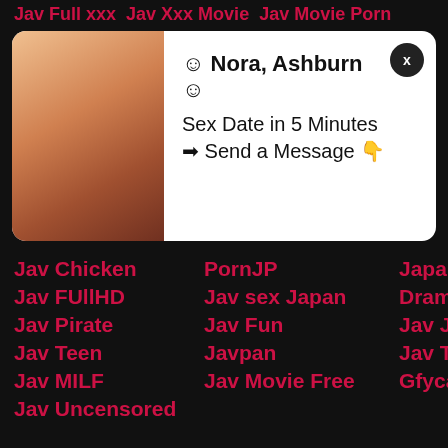Jav Full xxx   Jav Xxx Movie   Jav Movie Porn
[Figure (screenshot): Popup advertisement box with photo on left and text on right reading: ☺ Nora, Ashburn ☺ Sex Date in 5 Minutes ➡ Send a Message 👇]
Jav Chicken
PornJP
Japan sex full
Jav FUllHD
Jav sex Japan
Drama JAV
Jav Pirate
Jav Fun
Jav JavHD
Jav Teen
Javpan
Jav Tube
Jav MILF
Jav Movie Free
Gfycat
Jav Uncensored